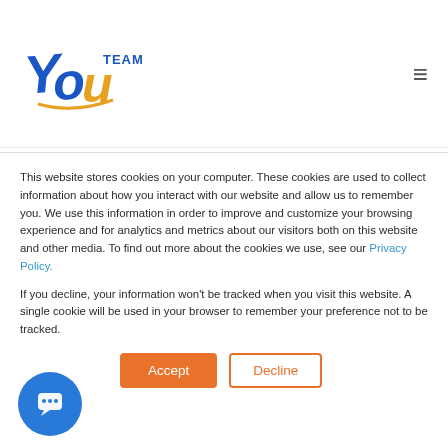[Figure (logo): YouTeam logo with stylized 'You' in blue and orange and 'TEAM' text]
Talented Java Software Engineer with 2 years of experience working on software development projects.
This website stores cookies on your computer. These cookies are used to collect information about how you interact with our website and allow us to remember you. We use this information in order to improve and customize your browsing experience and for analytics and metrics about our visitors both on this website and other media. To find out more about the cookies we use, see our Privacy Policy.
If you decline, your information won't be tracked when you visit this website. A single cookie will be used in your browser to remember your preference not to be tracked.